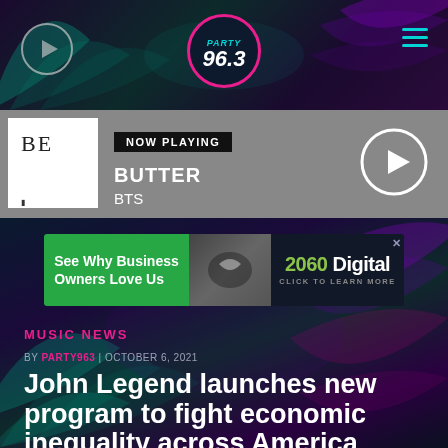PARTY 96.3 - radio station header with play button and hamburger menu
[Figure (screenshot): Now Playing bar showing album art for BTS BE album, NOW PLAYING label, track BUTTER by BTS, and a play button circle]
[Figure (screenshot): Advertisement banner: See Why Business Owners Love Us - 2060 Digital CLICK TO LEARN MORE]
MUSIC NEWS
BY PARTY963 | OCTOBER 6, 2021
John Legend launches new program to fight economic inequality across America